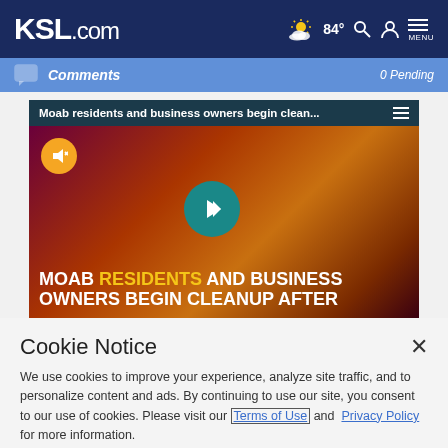KSL.com — 84° navigation bar with weather, search, account, menu icons
Comments — 0 Pending
[Figure (screenshot): Video thumbnail for 'Moab residents and business owners begin clean...' with play button, mute button, and overlay text 'MOAB RESIDENTS AND BUSINESS OWNERS BEGIN CLEANUP AFTER']
Cookie Notice
We use cookies to improve your experience, analyze site traffic, and to personalize content and ads. By continuing to use our site, you consent to our use of cookies. Please visit our Terms of Use and Privacy Policy for more information.
Continue